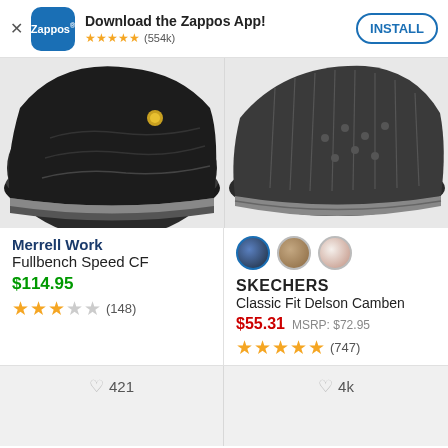[Figure (screenshot): Zappos app install banner with logo, star rating (554k reviews), and INSTALL button]
[Figure (photo): Merrell Work Fullbench Speed CF shoe close-up of sole, dark color]
[Figure (photo): Skechers Classic Fit Delson Camben shoe close-up of knit upper and sole]
Merrell Work
Fullbench Speed CF
$114.95
(148)
SKECHERS
Classic Fit Delson Camben
$55.31  MSRP: $72.95
(747)
♡ 421
♡ 4k